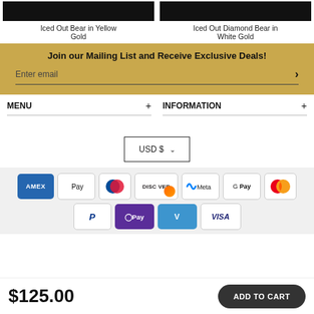Iced Out Bear in Yellow Gold
Iced Out Diamond Bear in White Gold
Join our Mailing List and Receive Exclusive Deals!
Enter email
MENU
INFORMATION
USD $
[Figure (other): Payment method icons: American Express, Apple Pay, Diners Club, Discover, Meta Pay, Google Pay, Mastercard, PayPal, OPay, Venmo, Visa]
$125.00
ADD TO CART